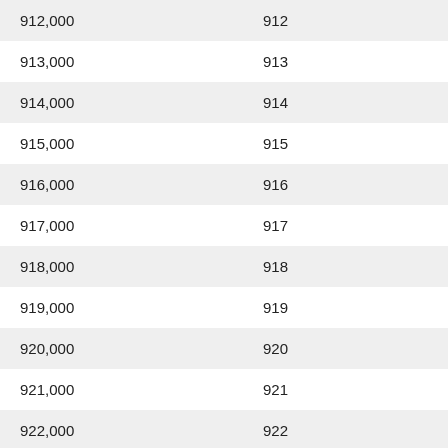| 912,000 | 912 |
| 913,000 | 913 |
| 914,000 | 914 |
| 915,000 | 915 |
| 916,000 | 916 |
| 917,000 | 917 |
| 918,000 | 918 |
| 919,000 | 919 |
| 920,000 | 920 |
| 921,000 | 921 |
| 922,000 | 922 |
| 923,000 | 923 |
| 924,000 | 924 |